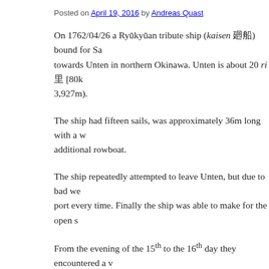Posted on April 19, 2016 by Andreas Quast
On 1762/04/26 a Ryūkyūan tribute ship (kaisen 廻船) bound for Sa... towards Unten in northern Okinawa. Unten is about 20 ri 里 [80k... 3,927m).
The ship had fifteen sails, was approximately 36m long with a w... additional rowboat.
The ship repeatedly attempted to leave Unten, but due to bad we... port every time. Finally the ship was able to make for the open s...
From the evening of the 15th to the 16th day they encountered a v... be cut and was washed away; the helm broke, and large parts of...
In furious southwestern winds they caught sight of Yakushima 屋... Yamagawa 山川 harbor in Satsuma 薩摩). Several times en route the s... ship drifted for three days and three nights towards the North-no...